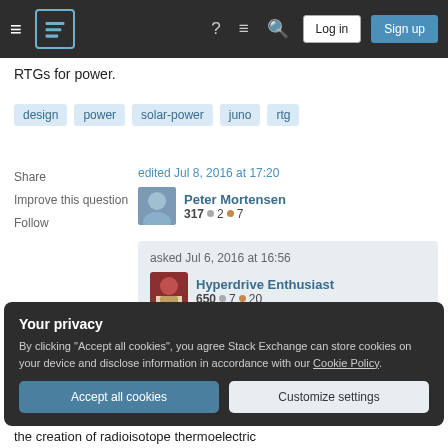Stack Exchange navigation bar with Log in and Sign up buttons
RTGs for power.
design
power
solar-power
juno
rtg
Share
Improve this question
Follow
edited Jul 8, 2016 at 17:20
Peter Mortensen 317 ●2 ●7
asked Jul 6, 2016 at 16:56
Hyperdrive Enthusiast 650 ●7 ●20
Your privacy
By clicking "Accept all cookies", you agree Stack Exchange can store cookies on your device and disclose information in accordance with our Cookie Policy.
Accept all cookies
Customize settings
the creation of radioisotope thermoelectric